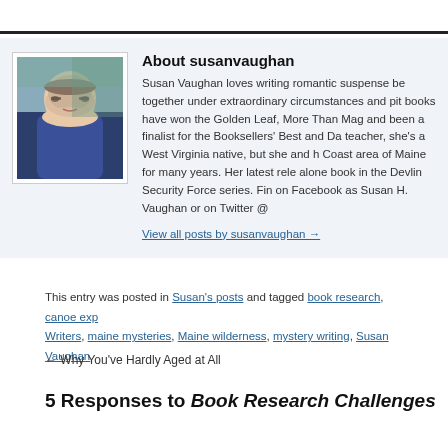[Figure (photo): Photo of Susan Vaughan, an older woman with short gray hair and glasses, wearing a dark jacket over a blue top, standing outdoors near trees.]
About susanvaughan
Susan Vaughan loves writing romantic suspense be together under extraordinary circumstances and pit books have won the Golden Leaf, More Than Mag and been a finalist for the Booksellers' Best and Da teacher, she's a West Virginia native, but she and h Coast area of Maine for many years. Her latest rele alone book in the Devlin Security Force series. Fin on Facebook as Susan H. Vaughan or on Twitter @
View all posts by susanvaughan →
This entry was posted in Susan's posts and tagged book research, canoe exp Writers, maine mysteries, Maine wilderness, mystery writing, Susan Vaughan
← Why You've Hardly Aged at All
5 Responses to Book Research Challenges